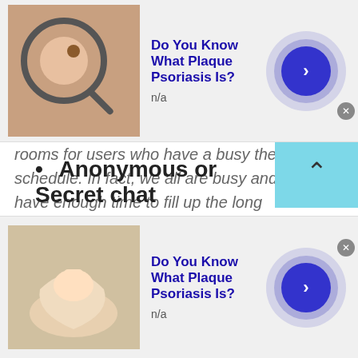[Figure (infographic): Top advertisement banner: thumbnail image of skin with magnifying glass, text 'Do You Know What Plaque Psoriasis Is?', 'n/a', blue arrow button with ripple circles, close X button]
rooms for users who have a busy the schedule. In fact, we all are busy and don't have enough time to fill up the long registration process.

So, isn't it convenient to save a lot of your time and start talking to strangers in Republic of Kosovo via TWS without a second thought? Of course, yes. You can enjoy a free chat or join TWS no login chat rooms without wasting a minute.
Anonymous or Secret chat
[Figure (infographic): Bottom advertisement banner: thumbnail image of a hand with cream, text 'Do You Know What Plaque Psoriasis Is?', 'n/a', blue arrow button with ripple circles, close X button]